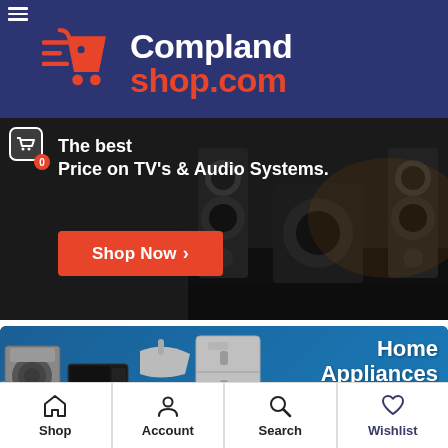[Figure (logo): Compland shop.com logo with shopping cart icon on dark blue background]
[Figure (screenshot): Banner showing TV and Audio Systems promotion with Shop Now button and speaker/TV imagery]
[Figure (screenshot): Home Appliances banner with refrigerator, microwave, iron, washing machine imagery on blue background with text 'Home Appliances - Shop For The Latest']